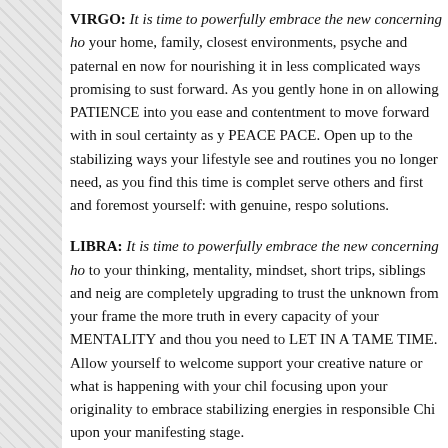VIRGO: It is time to powerfully embrace the new concerning ho your home, family, closest environments, psyche and paternal en now for nourishing it in less complicated ways promising to sust forward. As you gently hone in on allowing PATIENCE into you ease and contentment to move forward with in soul certainty as y PEACE PACE. Open up to the stabilizing ways your lifestyle see and routines you no longer need, as you find this time is complet serve others and first and foremost yourself: with genuine, respo solutions.
LIBRA: It is time to powerfully embrace the new concerning ho to your thinking, mentality, mindset, short trips, siblings and neig are completely upgrading to trust the unknown from your frame the more truth in every capacity of your MENTALITY and thou you need to LET IN A TAME TIME. Allow yourself to welcome support your creative nature or what is happening with your chil focusing upon your originality to embrace stabilizing energies in responsible Chi upon your manifesting stage.